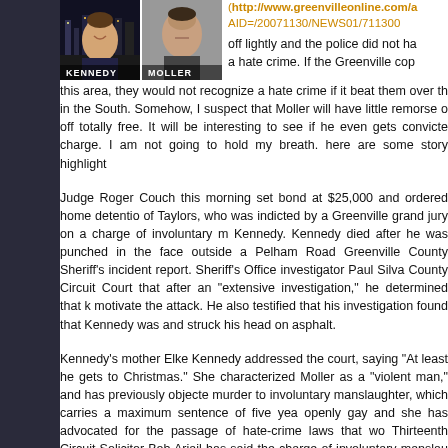[Figure (photo): Two side-by-side mugshot/photo images labeled KENNEDY (left) and MOLLER (right)]
(http://www.greenvilleonline.com/a AID=/20071130/NEWS01/711300 off lightly and the police did not ha a hate crime. If the Greenville cop this area, they would not recognize a hate crime if it beat them over th in the South. Somehow, I suspect that Moller will have little remorse o off totally free. It will be interesting to see if he even gets convicte charge. I am not going to hold my breath. here are some story highlight
Judge Roger Couch this morning set bond at $25,000 and ordered home detentio of Taylors, who was indicted by a Greenville grand jury on a charge of involuntary m Kennedy. Kennedy died after he was punched in the face outside a Pelham Road Greenville County Sheriff's incident report. Sheriff's Office investigator Paul Silva County Circuit Court that after an "extensive investigation," he determined that k motivate the attack. He also testified that his investigation found that Kennedy was and struck his head on asphalt.
Kennedy's mother Elke Kennedy addressed the court, saying "At least he gets to Christmas." She characterized Moller as a "violent man," and has previously objecte murder to involuntary manslaughter, which carries a maximum sentence of five yea openly gay and she has advocated for the passage of hate-crime laws that wo Thirteenth Circuit Solicitor Bob Ariail has said the charge of involuntary manslau under the law."